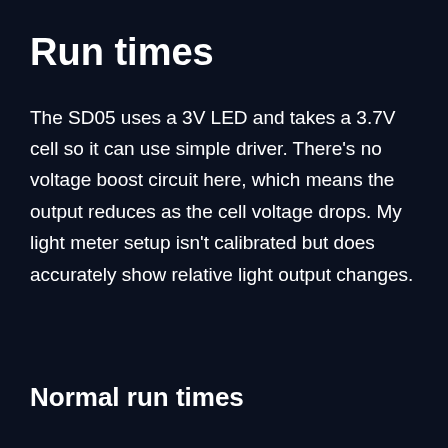Run times
The SD05 uses a 3V LED and takes a 3.7V cell so it can use simple driver. There’s no voltage boost circuit here, which means the output reduces as the cell voltage drops. My light meter setup isn’t calibrated but does accurately show relative light output changes.
Normal run times